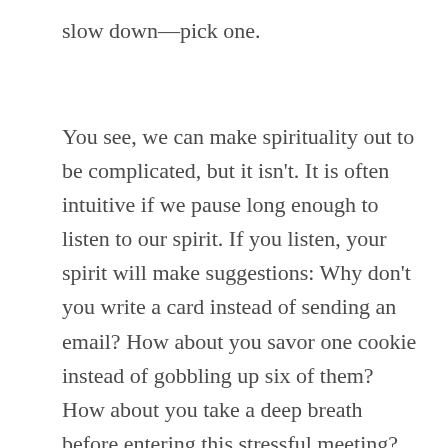slow down—pick one.
You see, we can make spirituality out to be complicated, but it isn't. It is often intuitive if we pause long enough to listen to our spirit. If you listen, your spirit will make suggestions: Why don't you write a card instead of sending an email? How about you savor one cookie instead of gobbling up six of them? How about you take a deep breath before entering this stressful meeting? How